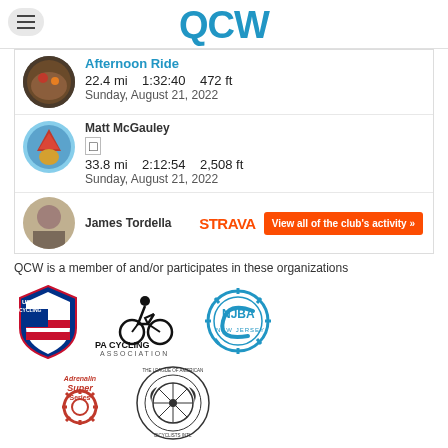QCW
Afternoon Ride
22.4 mi    1:32:40    472 ft
Sunday, August 21, 2022
Matt McGauley
33.8 mi    2:12:54    2,508 ft
Sunday, August 21, 2022
James Tordella
[Figure (logo): Strava logo and View all of the club's activity button]
QCW is a member of and/or participates in these organizations
[Figure (logo): USA Cycling shield logo]
[Figure (logo): PA Cycling Association logo with cyclist silhouette]
[Figure (logo): NJBA New Jersey Bicycle Association logo]
[Figure (logo): Adrenalin Super Series logo]
[Figure (logo): The League of American Bicyclists circular logo]